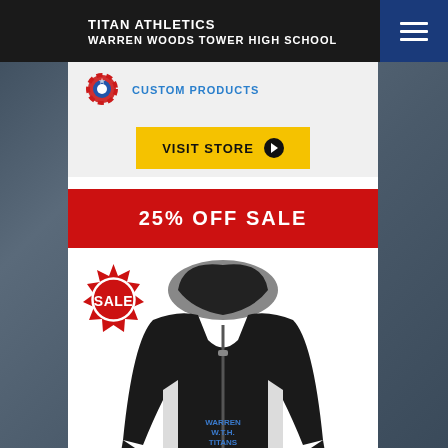TITAN ATHLETICS
WARREN WOODS TOWER HIGH SCHOOL
[Figure (logo): Gear/cog logo icon in red and blue for custom products]
CUSTOM PRODUCTS
VISIT STORE ▶
25% OFF SALE
[Figure (photo): Black zip-up athletic hoodie jacket with blue team text embroidery, with a red SALE badge overlay in the top-left corner]